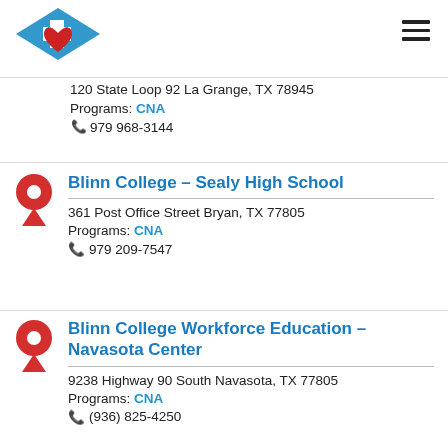[Figure (logo): Nurse/healthcare logo: blue diamond/cap shape with white cross and red heart below]
120 State Loop 92 La Grange, TX 78945
Programs: CNA
979 968-3144
Blinn College – Sealy High School
361 Post Office Street Bryan, TX 77805
Programs: CNA
979 209-7547
Blinn College Workforce Education – Navasota Center
9238 Highway 90 South Navasota, TX 77805
Programs: CNA
(936) 825-4250